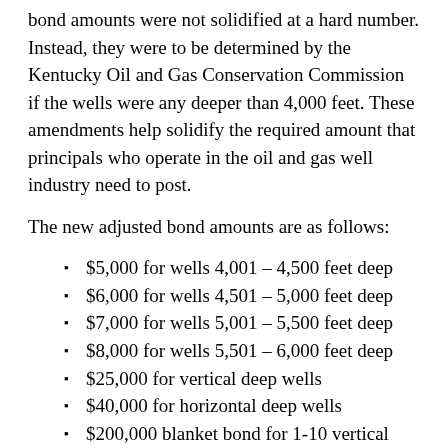bond amounts were not solidified at a hard number. Instead, they were to be determined by the Kentucky Oil and Gas Conservation Commission if the wells were any deeper than 4,000 feet. These amendments help solidify the required amount that principals who operate in the oil and gas well industry need to post.
The new adjusted bond amounts are as follows:
$5,000 for wells 4,001 – 4,500 feet deep
$6,000 for wells 4,501 – 5,000 feet deep
$7,000 for wells 5,001 – 5,500 feet deep
$8,000 for wells 5,501 – 6,000 feet deep
$25,000 for vertical deep wells
$40,000 for horizontal deep wells
$200,000 blanket bond for 1-10 vertical